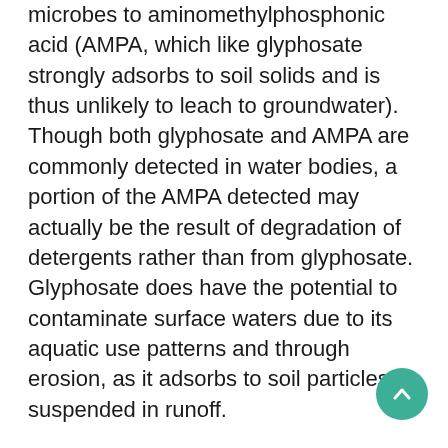microbes to aminomethylphosphonic acid (AMPA, which like glyphosate strongly adsorbs to soil solids and is thus unlikely to leach to groundwater). Though both glyphosate and AMPA are commonly detected in water bodies, a portion of the AMPA detected may actually be the result of degradation of detergents rather than from glyphosate. Glyphosate does have the potential to contaminate surface waters due to its aquatic use patterns and through erosion, as it adsorbs to soil particles suspended in runoff.
Detection in surface waters (particularly downstream from agricultural uses) has been reported as both broad and frequent by USGS researchers, although other similar research found equal frequencies of detection in urban-dominated small streams. Rain events can trigger dissolved glyphosate loss in transport-prone soils. The mechanism of glyphosate sorption to soil is similar to